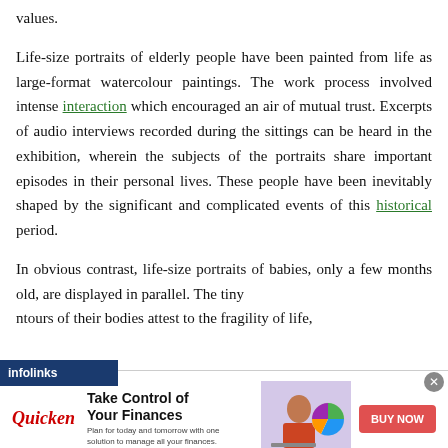values.
Life-size portraits of elderly people have been painted from life as large-format watercolour paintings. The work process involved intense interaction which encouraged an air of mutual trust. Excerpts of audio interviews recorded during the sittings can be heard in the exhibition, wherein the subjects of the portraits share important episodes in their personal lives. These people have been inevitably shaped by the significant and complicated events of this historical period.
In obvious contrast, life-size portraits of babies, only a few months old, are displayed in parallel. The tiny contours of their bodies attest to the fragility of life,
[Figure (screenshot): Infolinks advertisement banner for Quicken: 'Take Control of Your Finances' with a BUY NOW button and an image of a woman using a laptop with a pie chart.]